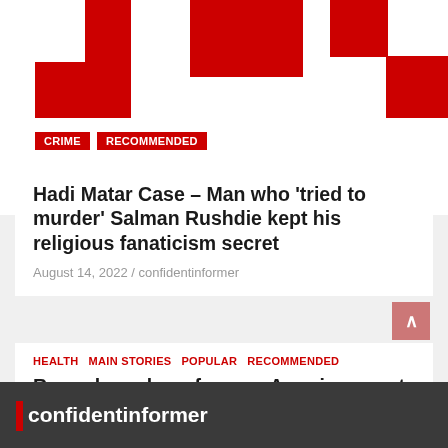[Figure (logo): Red and white geometric logo blocks at top of page for confidentinformer news site]
CRIME  RECOMMENDED
Hadi Matar Case – Man who 'tried to murder' Salman Rushdie kept his religious fanaticism secret
August 14, 2022 / confidentinformer
HEALTH  MAIN STORIES  POPULAR  RECOMMENDED
Record number of young Americans not having sex in in 'sex recession'
November 14, 2021 / confidentinformer
confidentinformer